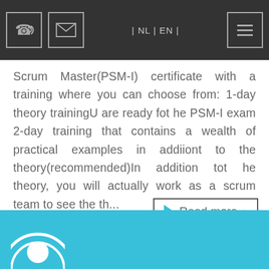NL | EN
Scrum Master(PSM-I) certificate with a training where you can choose from: 1-day theory trainingU are ready fot he PSM-I exam 2-day training that contains a wealth of practical examples in addiiont to the theory(recommended)In addition tot he theory, you will actually work as a scrum team to see the th...
Read more »
[Figure (illustration): Cyan banner section at the bottom with a circular icon partially visible at the lower left]